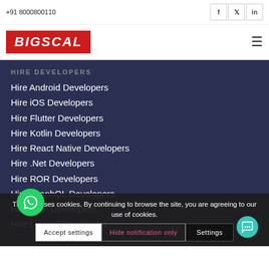+91 8000800110
[Figure (logo): BIGSCAL logo in white italic bold text on red background]
HIRE DEVELOPERS
Hire Android Developers
Hire iOS Developers
Hire Flutter Developers
Hire Kotlin Developers
Hire React Native Developers
Hire .Net Developers
Hire ROR Developers
Hire GraphQL Developers
Hire PHP Developers
Hire Laravel Developers
Hire Codeigniter Developers
This site uses cookies. By continuing to browse the site, you are agreeing to our use of cookies.
Accept settings | Hide notification only | Settings